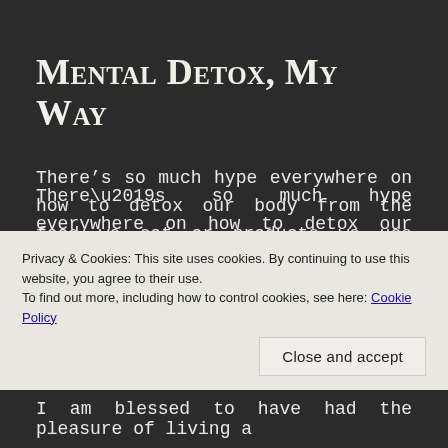Mental Detox, My Way
There’s so much hype everywhere on how to detox our body from the food we eat or products we use that harm our health. Detox could probably be the most popular word in terms of wellness these days but to be quite honest, I don’t do any body detoxification thingy. Really. I know it’s essential to our bodies but I’d get to that some time later. I find
Privacy & Cookies: This site uses cookies. By continuing to use this website, you agree to their use.
To find out more, including how to control cookies, see here: Cookie Policy
I am blessed to have had the pleasure of living a